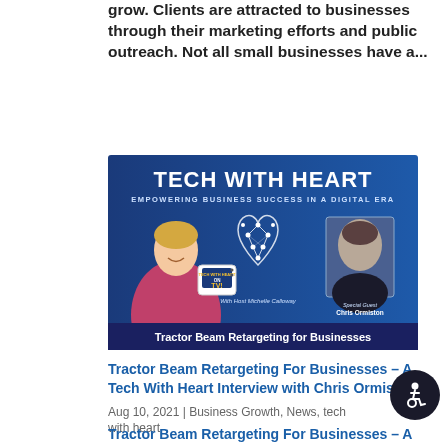grow. Clients are attracted to businesses through their marketing efforts and public outreach. Not all small businesses have a...
[Figure (illustration): Tech With Heart TV show banner. Blue background with bold white text 'TECH WITH HEART' at top, subtitle 'EMPOWERING BUSINESS SUCCESS IN A DIGITAL ERA'. Left side shows a woman in pink jacket holding a TV that says 'TECH WITH HEART ON TV!'. Center shows a heart made of a network diagram. Right side shows a headshot photo with text 'Special Guest Chris Ormiston'. Below the image: 'With Host Michelle Calloway'. Bottom bar reads 'Tractor Beam Retargeting for Businesses'.]
Tractor Beam Retargeting For Businesses – A Tech With Heart Interview with Chris Ormiston
Aug 10, 2021 | Business Growth, News, tech with heart
Tractor Beam Retargeting For Businesses – A